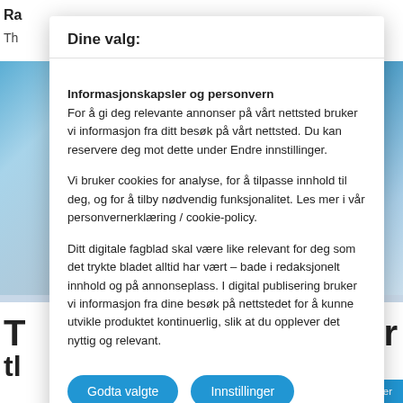Ra
Th
Dine valg:
Informasjonskapsler og personvern
For å gi deg relevante annonser på vårt nettsted bruker vi informasjon fra ditt besøk på vårt nettsted. Du kan reservere deg mot dette under Endre innstillinger.
Vi bruker cookies for analyse, for å tilpasse innhold til deg, og for å tilby nødvendig funksjonalitet. Les mer i vår personvernerklæring / cookie-policy.
Ditt digitale fagblad skal være like relevant for deg som det trykte bladet alltid har vært – bade i redaksjonelt innhold og på annonseplass. I digital publisering bruker vi informasjon fra dine besøk på nettstedet for å kunne utvikle produktet kontinuerlig, slik at du opplever det nyttig og relevant.
Godta valgte
Innstillinger
Innstillinger for informasjonskapsler